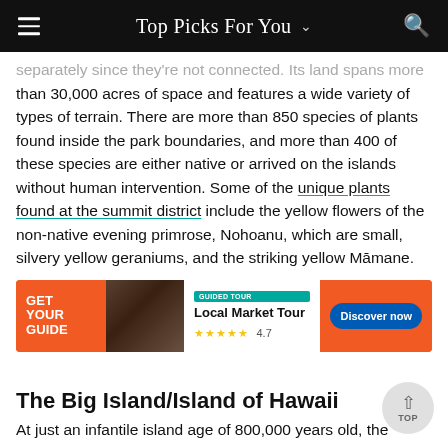Top Picks For You
separately since they're not connected. Its land spans more than 30,000 acres of space and features a wide variety of types of terrain. There are more than 850 species of plants found inside the park boundaries, and more than 400 of these species are either native or arrived on the islands without human intervention. Some of the unique plants found at the summit district include the yellow flowers of the non-native evening primrose, Nohoanu, which are small, silvery yellow geraniums, and the striking yellow Māmane.
[Figure (other): Advertisement banner for GetYourGuide featuring a Local Market Tour with 4.7 star rating and a Discover now button]
The Big Island/Island of Hawaii
At just an infantile island age of 800,000 years old, the Island of Hawaii is the youngest of the Hawaiian